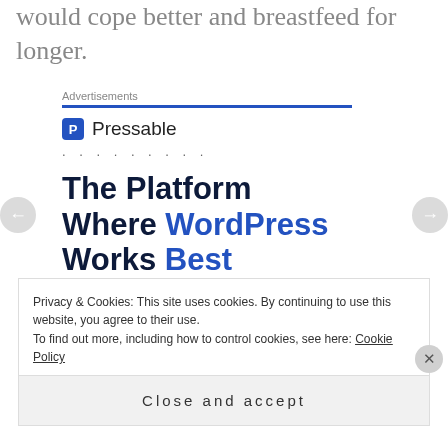would cope better and breastfeed for longer.
Advertisements
[Figure (other): Pressable advertisement banner. Shows Pressable logo and tagline: The Platform Where WordPress Works Best, with a SEE PRICING button.]
Privacy & Cookies: This site uses cookies. By continuing to use this website, you agree to their use. To find out more, including how to control cookies, see here: Cookie Policy
Close and accept